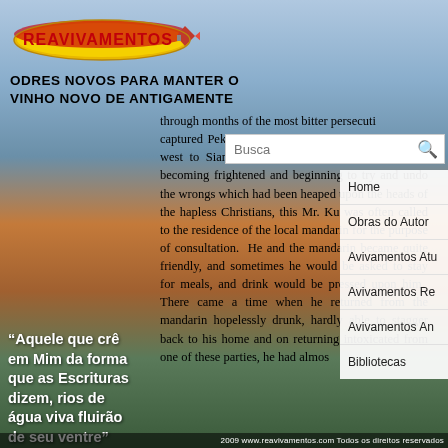[Figure (logo): Reavivamentos logo: yellow/red elongated flame/leaf shape with red bold text 'REAVIVAMENTOS' and a small rocket/flame at right]
ODRES NOVOS PARA MANTER O VINHO NOVO DE ANTIGAMENTE
through months of the most bitter persecution captured Peking and the Empress Dowager had fled west to Sianfu and the officials everywhere were becoming frightened and beginning to try and undo the wrongs which had been heaped upon the heads of the hapless Christians, this Mr. Ku was often called to the residence of the local mandarin for the purpose of consultation. He and the mandarin became quite friendly, and sometimes he would be asked to stay for meals, and drink would be pressed upon him. There came a time when he returned from the mandarin hopelessly drunk, hardly able to stagger back to his home and on returning intoxicated from one of these parties, he had almos
[Figure (screenshot): Search bar overlay with 'Busca' placeholder text and magnifying glass icon]
Home
Obras do Autor
Avivamentos Atu
Avivamentos Re
Avivamentos An
Bibliotecas
“Aquele que crê em Mim da forma que as Escrituras dizem, rios de água viva fluirão de seu ventre”
João 7:38
2009 www.reavivamentos.com Todos os direitos reservados